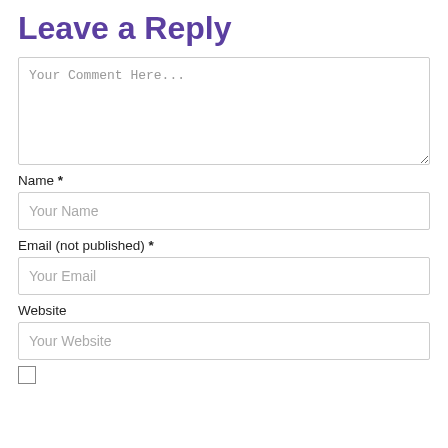Leave a Reply
Your Comment Here...
Name *
Your Name
Email (not published) *
Your Email
Website
Your Website